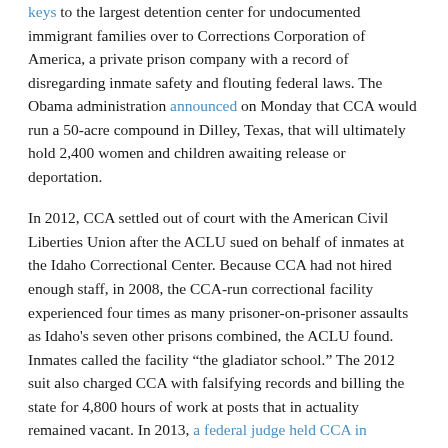keys to the largest detention center for undocumented immigrant families over to Corrections Corporation of America, a private prison company with a record of disregarding inmate safety and flouting federal laws. The Obama administration announced on Monday that CCA would run a 50-acre compound in Dilley, Texas, that will ultimately hold 2,400 women and children awaiting release or deportation.
In 2012, CCA settled out of court with the American Civil Liberties Union after the ACLU sued on behalf of inmates at the Idaho Correctional Center. Because CCA had not hired enough staff, in 2008, the CCA-run correctional facility experienced four times as many prisoner-on-prisoner assaults as Idaho's seven other prisons combined, the ACLU found. Inmates called the facility “the gladiator school.” The 2012 suit also charged CCA with falsifying records and billing the state for 4,800 hours of work at posts that in actuality remained vacant. In 2013, a federal judge held CCA in contempt of court for continuing to understaff the prison, even after it was successfully sued by the ACLU. CCA lost its $30 million contract for the prison with the